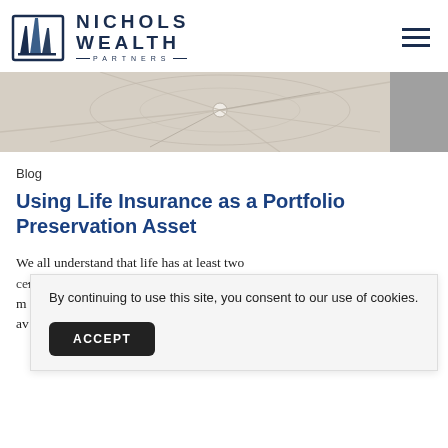Nichols Wealth Partners logo and navigation
[Figure (illustration): Hero banner strip with abstract network/connection graphic in beige and gray tones]
Blog
Using Life Insurance as a Portfolio Preservation Asset
We all understand that life has at least two certainties: death and taxes. I'll add one more: m... n av... l,
By continuing to use this site, you consent to our use of cookies.
ACCEPT